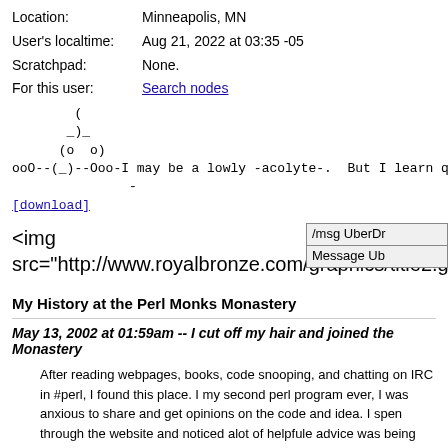Location: Minneapolis, MN
User's localtime: Aug 21, 2022 at 03:35 -05
Scratchpad: None.
For this user: Search nodes
(
_)_
(o o)
ooO--(_)--Ooo-I may be a lowly -acolyte-. But I learn q
            -
[download]
<img src="http://www.royalbronze.com/graphics/title2.gif">
/msg UberDr
Message Ub
My History at the Perl Monks Monastery
May 13, 2002 at 01:59am -- I cut off my hair and joined the Monastery
After reading webpages, books, code snooping, and chatting on IRC in #perl, I found this place. I my second perl program ever, I was anxious to share and get opinions on the code and idea. I spen through the website and noticed alot of helpfule advice was being passed around! A few nodes into I wanted to learn Perl this is where I should be. So many Perl Guru Minds to get useful informatio